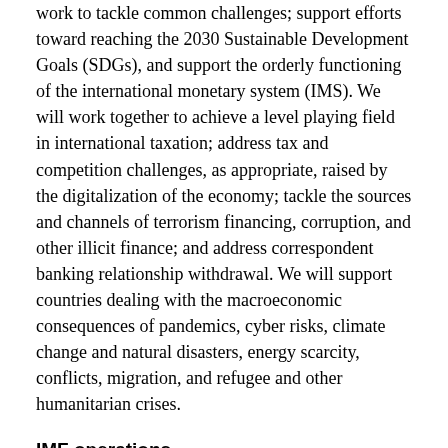work to tackle common challenges; support efforts toward reaching the 2030 Sustainable Development Goals (SDGs), and support the orderly functioning of the international monetary system (IMS). We will work together to achieve a level playing field in international taxation; address tax and competition challenges, as appropriate, raised by the digitalization of the economy; tackle the sources and channels of terrorism financing, corruption, and other illicit finance; and address correspondent banking relationship withdrawal. We will support countries dealing with the macroeconomic consequences of pandemics, cyber risks, climate change and natural disasters, energy scarcity, conflicts, migration, and refugee and other humanitarian crises.
IMF operations
We welcome the Managing Director's Global Policy Agenda. The IMF has a key role in supporting the membership to seize the window of opportunity to: